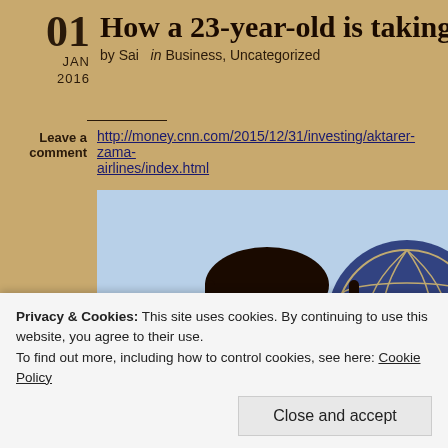How a 23-year-old is taking on th
01  JAN 2016  by Sai  in Business, Uncategorized
Leave a comment
http://money.cnn.com/2015/12/31/investing/aktarer-zama-airlines/index.html
[Figure (photo): Photo of a young South Asian man smiling, with an airline logo visible in the background]
Privacy & Cookies: This site uses cookies. By continuing to use this website, you agree to their use.
To find out more, including how to control cookies, see here: Cookie Policy
Close and accept